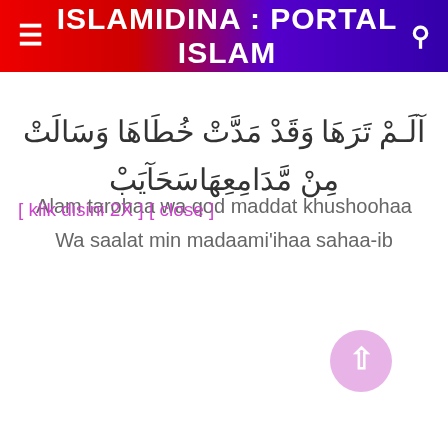≡  ISLAMIDINA : PORTAL ISLAM  🔍
آلَـمْ تَرَهَا وَقَدْ مَدَّتْ خُطَاهَا وَسَالَتْ مِنْ مَّدَامِعِهَاسَحَآیَبْ
Alam tarohaa wa qod maddat khushoohaa
Wa saalat min madaami'ihaa sahaa-ib
[ klik disini 2X ] [ close ]